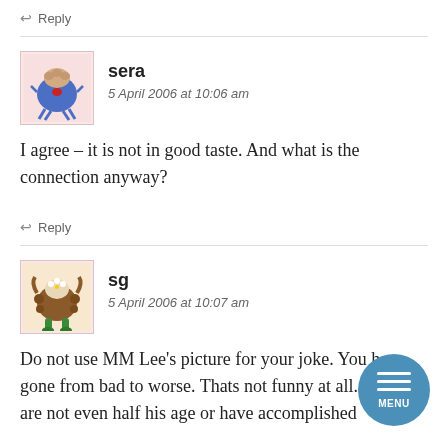↩ Reply
sera
5 April 2006 at 10:06 am
I agree – it is not in good taste. And what is the connection anyway?
↩ Reply
sg
5 April 2006 at 10:07 am
Do not use MM Lee's picture for your joke. You have gone from bad to worse. Thats not funny at all. And you are not even half his age or have accomplished